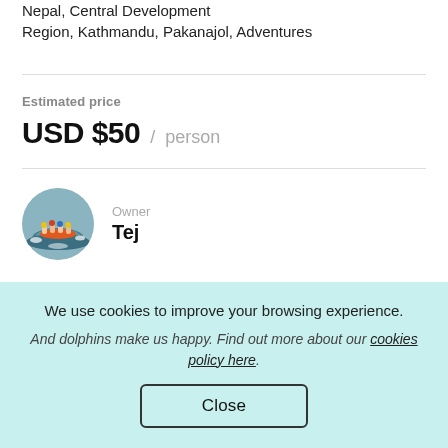Nepal, Central Development Region, Kathmandu, Pakanajol, Adventures
Estimated price
USD $50 / person
Owner
Tej
[Figure (photo): Circular avatar photo showing people in a raft on whitewater rapids]
We consider as a high commercial whitewater sports
We use cookies to improve your browsing experience. And dolphins make us happy. Find out more about our cookies policy here.